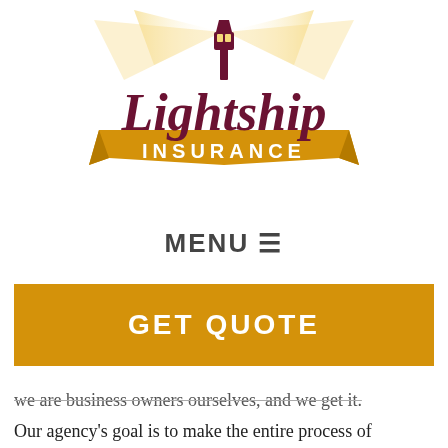[Figure (logo): Lightship Insurance logo with lighthouse lantern at top emitting golden light beams, large dark red text 'Lightship' above a gold banner ribbon with white text 'INSURANCE']
MENU ☰
GET QUOTE
we are business owners ourselves, and we get it.
Our agency's goal is to make the entire process of insurance fast and simple while finding the best